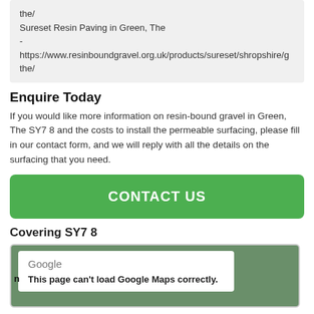the/
Sureset Resin Paving in Green, The - https://www.resinboundgravel.org.uk/products/sureset/shropshire/g the/
Enquire Today
If you would like more information on resin-bound gravel in Green, The SY7 8 and the costs to install the permeable surfacing, please fill in our contact form, and we will reply with all the details on the surfacing that you need.
CONTACT US
Covering SY7 8
[Figure (screenshot): Google Maps error box showing 'This page can't load Google Maps correctly.' on a green map background]